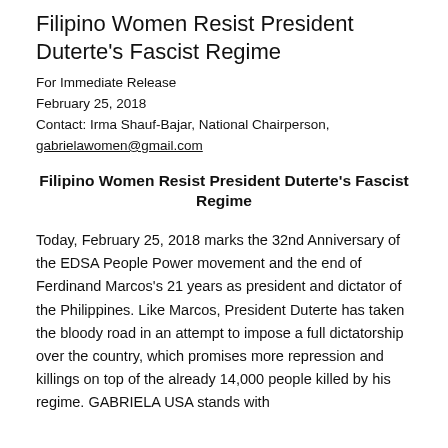Filipino Women Resist President Duterte's Fascist Regime
For Immediate Release
February 25, 2018
Contact: Irma Shauf-Bajar, National Chairperson,
gabrielajomen@gmail.com
Filipino Women Resist President Duterte's Fascist Regime
Today, February 25, 2018 marks the 32nd Anniversary of the EDSA People Power movement and the end of Ferdinand Marcos's 21 years as president and dictator of the Philippines. Like Marcos, President Duterte has taken the bloody road in an attempt to impose a full dictatorship over the country, which promises more repression and killings on top of the already 14,000 people killed by his regime. GABRIELA USA stands with